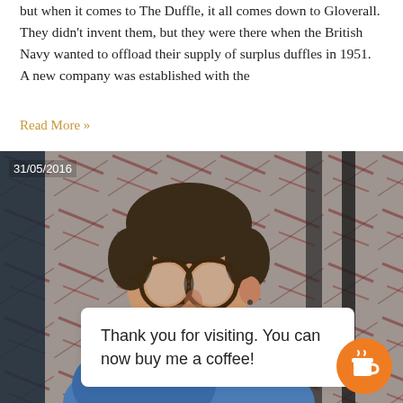but when it comes to The Duffle, it all comes down to Gloverall. They didn't invent them, but they were there when the British Navy wanted to offload their supply of surplus duffles in 1951. A new company was established with the
Read More »
[Figure (photo): Photo of a man with glasses and a beard wearing a blue hoodie, looking to the side, in front of a painted wall. Date badge reads 31/05/2016. An overlay white box says 'Thank you for visiting. You can now buy me a coffee!' with an orange coffee cup button.]